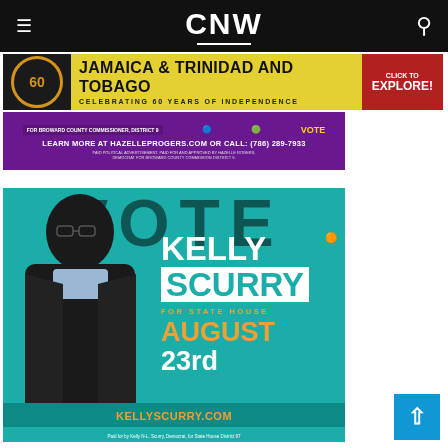CNW
[Figure (infographic): Jamaica & Trinidad and Tobago - Celebrating 60 Years of Independence banner advertisement with Click to Explore button]
[Figure (infographic): Political advertisement strip - Broward County Commissioner District 9 - Learn more at HAZELLEPROGERS.COM or CALL: (786) 289-7933]
[Figure (infographic): Vote Kelly Scurry for State House campaign ad - August 23rd - KELLYSCURRY.COM - Paid for by Kelly N-L. Scurry, Democrat, for State House District 97]